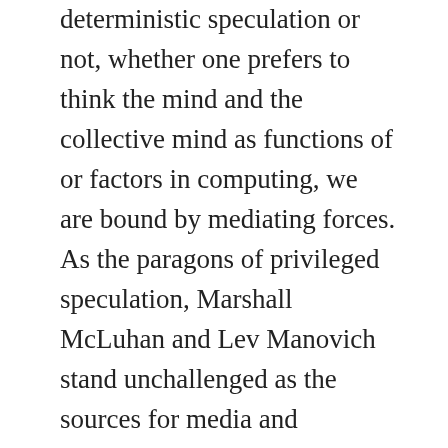deterministic speculation or not, whether one prefers to think the mind and the collective mind as functions of or factors in computing, we are bound by mediating forces. As the paragons of privileged speculation, Marshall McLuhan and Lev Manovich stand unchallenged as the sources for media and software theory in the United States. Their conceptual frameworks are most contentious when held against certain French thinkers'. McLuhan's insight that all media contain as a message a prior medium finds a counterpoint in Regis deBray's analysis of media as overlapping paradigms.